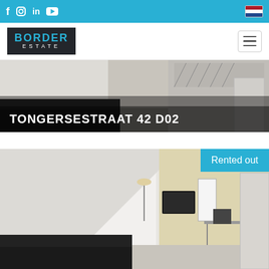Social media icons: Facebook, Instagram, LinkedIn, YouTube | Dutch flag
[Figure (logo): Border Estate logo — white text on dark background with blue 'BORDER' text]
TONGERSESTRAAT 42 D02
[Figure (photo): Interior photo of a room with sloped ceiling, sofa, TV, lamp, and wardrobe. 'Rented out' badge in top right corner.]